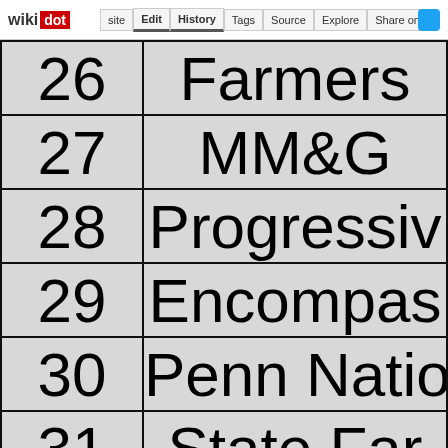wikidot | site | Edit | History | Tags | Source | Explore | Share on
| # | Name |
| --- | --- |
| 26 | Farmers |
| 27 | MM&G |
| 28 | Progressive |
| 29 | Encompass |
| 30 | Penn National |
| 31 | State Farm |